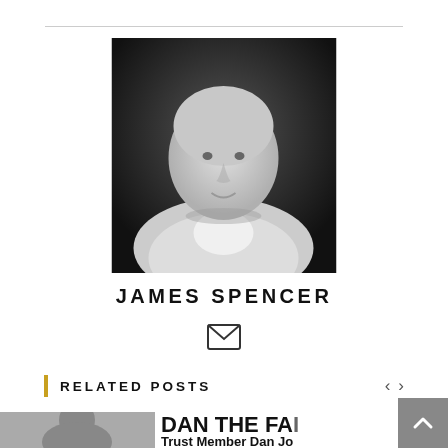[Figure (photo): Black and white portrait photo of James Spencer, a bald man in a suit jacket]
JAMES SPENCER
[Figure (illustration): Email envelope icon]
RELATED POSTS
[Figure (photo): Related post thumbnail showing a person's head and text reading 'DAN THE FAI - Trust Member Dan Jo gives his views on the lat']